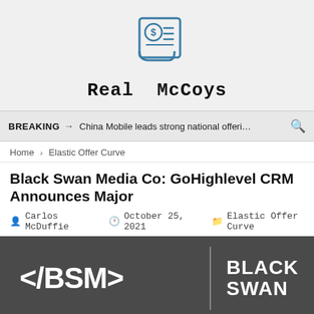[Figure (logo): Real McCoys logo with a receipt/invoice icon above the stylized text 'Real McCoys' in bold monospace font on a light gray background]
BREAKING → China Mobile leads strong national offeri…
Home > Elastic Offer Curve
Black Swan Media Co: GoHighlevel CRM Announces Major
Carlos McDuffie   October 25, 2021   Elastic Offer Curve
[Figure (photo): Dark gray background image showing '</BSM>' in large white text on the left, a vertical divider line, and 'BLACK SWAN' in large bold white text on the right]